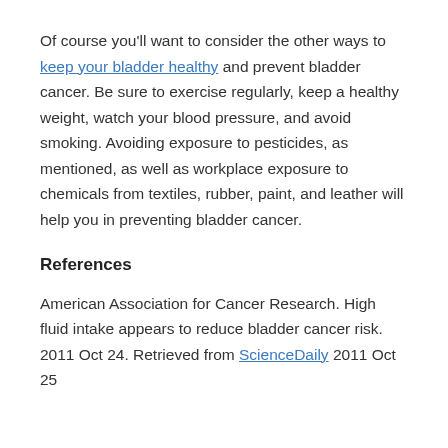Of course you'll want to consider the other ways to keep your bladder healthy and prevent bladder cancer. Be sure to exercise regularly, keep a healthy weight, watch your blood pressure, and avoid smoking. Avoiding exposure to pesticides, as mentioned, as well as workplace exposure to chemicals from textiles, rubber, paint, and leather will help you in preventing bladder cancer.
References
American Association for Cancer Research. High fluid intake appears to reduce bladder cancer risk. 2011 Oct 24. Retrieved from ScienceDaily 2011 Oct 25